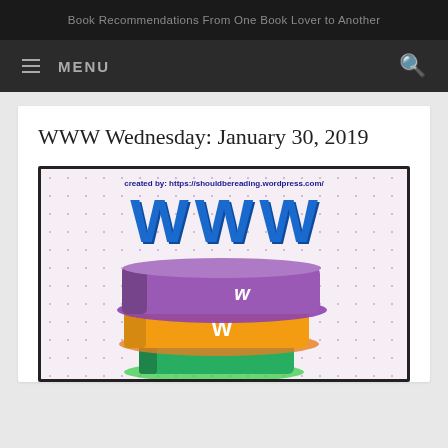Book Recommendations From One Book Lover to Another
WWW Wednesday: January 30, 2019
[Figure (illustration): WWW Wednesday meme image with large blue WWW letters and a stack of colorful illustrated books (purple, orange, green) with a 'w' on the spines. Created by shouldbereading.wordpress.com]